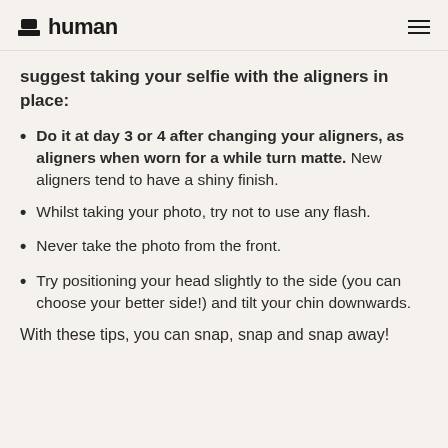human
suggest taking your selfie with the aligners in place:
Do it at day 3 or 4 after changing your aligners, as aligners when worn for a while turn matte. New aligners tend to have a shiny finish.
Whilst taking your photo, try not to use any flash.
Never take the photo from the front.
Try positioning your head slightly to the side (you can choose your better side!) and tilt your chin downwards.
With these tips, you can snap, snap and snap away!